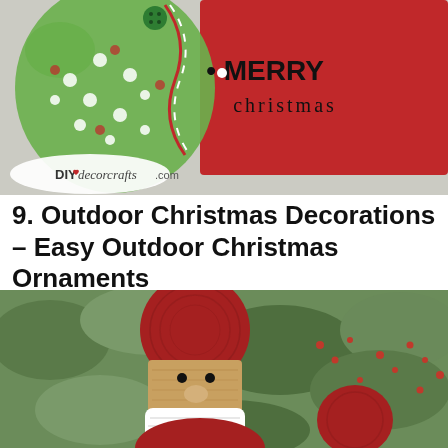[Figure (photo): Christmas card/tag with green polka-dot mitten and red background reading MERRY christmas, with DIYdecorcrafts.com watermark logo]
9. Outdoor Christmas Decorations – Easy Outdoor Christmas Ornaments
[Figure (photo): A hand-crafted wooden Santa Claus ornament painted with red hat, tan face, white beard, and black eyes, placed in front of a green berry bush background]